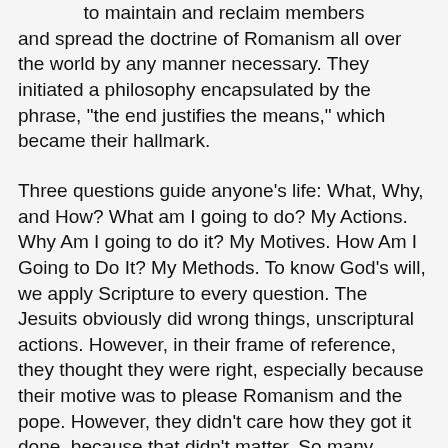to maintain and reclaim members and spread the doctrine of Romanism all over the world by any manner necessary. They initiated a philosophy encapsulated by the phrase, "the end justifies the means," which became their hallmark.
Three questions guide anyone's life: What, Why, and How? What am I going to do? My Actions. Why Am I going to do it? My Motives. How Am I Going to Do It? My Methods. To know God's will, we apply Scripture to every question. The Jesuits obviously did wrong things, unscriptural actions. However, in their frame of reference, they thought they were right, especially because their motive was to please Romanism and the pope. However, they didn't care how they got it done, because that didn't matter. So many people disregard scriptural methodology, reasoning that it doesn't matter how you do what you do, as long as you reach a scriptural or desired result. So much of Scripture contradicts this by either teaching a method or punishing a wrong method. 2 Samuel 6 and the example of Uzzah and the ark of the covenant jumps out to illustrate this point. Bringing the ark to Jerusalem was the right action with the right motive.